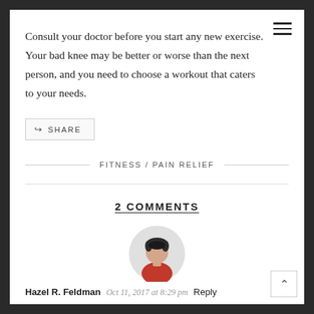Consult your doctor before you start any new exercise. Your bad knee may be better or worse than the next person, and you need to choose a workout that caters to your needs.
SHARE
FITNESS / PAIN RELIEF
2 COMMENTS
[Figure (illustration): Circular avatar icon of a person with dark hair wearing a red shirt, on a light grey background]
Hazel R. Feldman  Oct 11, 2017 at 8:29 pm  Reply